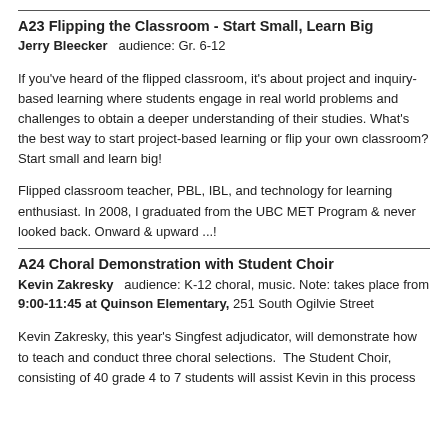A23 Flipping the Classroom - Start Small, Learn Big
Jerry Bleecker   audience: Gr. 6-12
If you've heard of the flipped classroom, it's about project and inquiry-based learning where students engage in real world problems and challenges to obtain a deeper understanding of their studies. What's the best way to start project-based learning or flip your own classroom? Start small and learn big!
Flipped classroom teacher, PBL, IBL, and technology for learning enthusiast. In 2008, I graduated from the UBC MET Program & never looked back. Onward & upward ...!
A24 Choral Demonstration with Student Choir
Kevin Zakresky   audience: K-12 choral, music. Note: takes place from 9:00-11:45 at Quinson Elementary, 251 South Ogilvie Street
Kevin Zakresky, this year's Singfest adjudicator, will demonstrate how to teach and conduct three choral selections.  The Student Choir, consisting of 40 grade 4 to 7 students will assist Kevin in this process